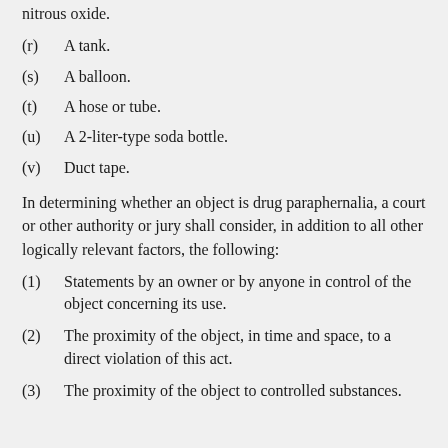nitrous oxide.
(r)   A tank.
(s)   A balloon.
(t)   A hose or tube.
(u)   A 2-liter-type soda bottle.
(v)   Duct tape.
In determining whether an object is drug paraphernalia, a court or other authority or jury shall consider, in addition to all other logically relevant factors, the following:
(1)   Statements by an owner or by anyone in control of the object concerning its use.
(2)   The proximity of the object, in time and space, to a direct violation of this act.
(3)   The proximity of the object to controlled substances...